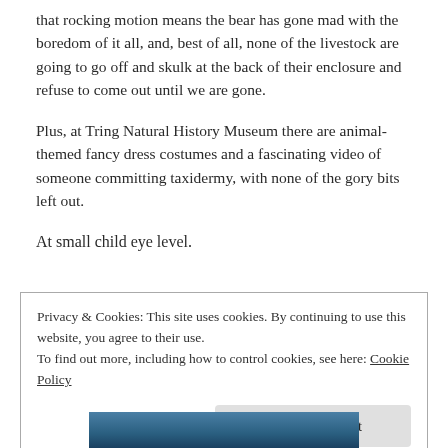that rocking motion means the bear has gone mad with the boredom of it all, and, best of all, none of the livestock are going to go off and skulk at the back of their enclosure and refuse to come out until we are gone.
Plus, at Tring Natural History Museum there are animal-themed fancy dress costumes and a fascinating video of someone committing taxidermy, with none of the gory bits left out.
At small child eye level.
Privacy & Cookies: This site uses cookies. By continuing to use this website, you agree to their use.
To find out more, including how to control cookies, see here: Cookie Policy
Close and accept